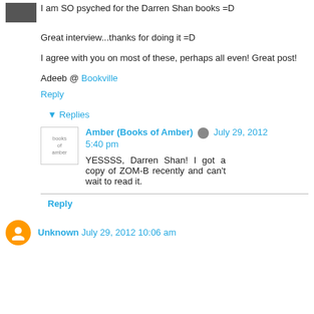I am SO psyched for the Darren Shan books =D
Great interview...thanks for doing it =D
I agree with you on most of these, perhaps all even! Great post!
Adeeb @ Bookville
Reply
▾ Replies
Amber (Books of Amber) July 29, 2012 5:40 pm
YESSSS, Darren Shan! I got a copy of ZOM-B recently and can't wait to read it.
Reply
Unknown July 29, 2012 10:06 am